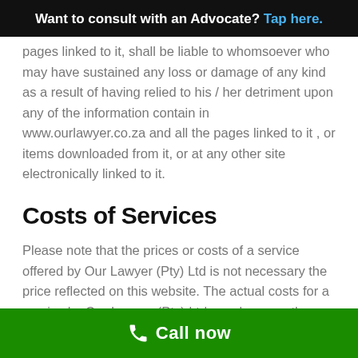Want to consult with an Advocate? Tap here.
pages linked to it, shall be liable to whomsoever who may have sustained any loss or damage of any kind as a result of having relied to his / her detriment upon any of the information contain in www.ourlawyer.co.za and all the pages linked to it , or items downloaded from it, or at any other site electronically linked to it.
Costs of Services
Please note that the prices or costs of a service offered by Our Lawyer (Pty) Ltd is not necessary the price reflected on this website. The actual costs for a service by Our Lawyer (Pty) Ltd may be more than stated on
Call now